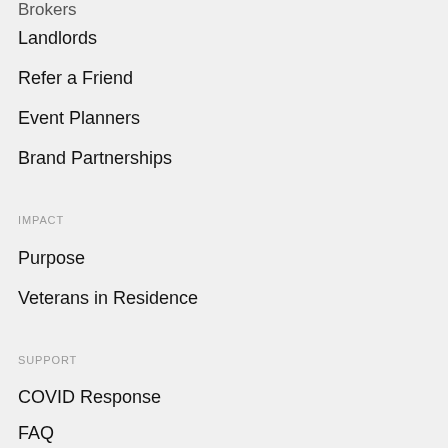Brokers
Landlords
Refer a Friend
Event Planners
Brand Partnerships
IMPACT
Purpose
Veterans in Residence
SUPPORT
COVID Response
FAQ
Contact us